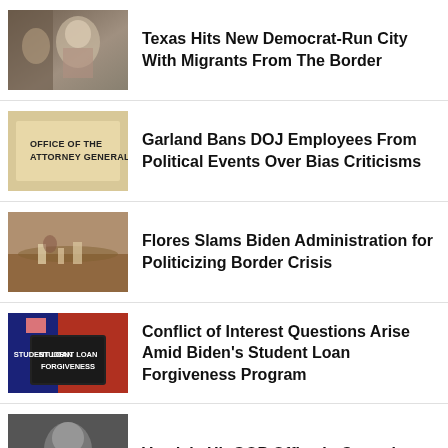Texas Hits New Democrat-Run City With Migrants From The Border
Garland Bans DOJ Employees From Political Events Over Bias Criticisms
Flores Slams Biden Administration for Politicizing Border Crisis
Conflict of Interest Questions Arise Amid Biden's Student Loan Forgiveness Program
Vandals Hit GOP Office In Central